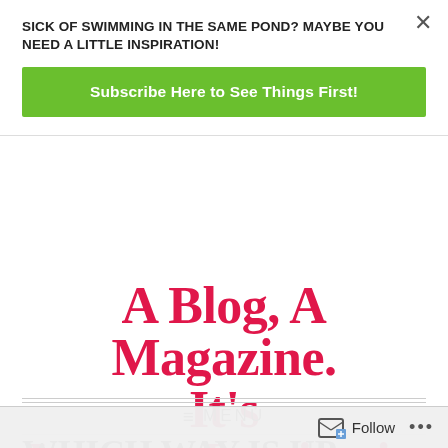SICK OF SWIMMING IN THE SAME POND? MAYBE YOU NEED A LITTLE INSPIRATION!
Subscribe Here to See Things First!
A Blog, A Magazine. It's JustsumInspiration!
≡ MENU
WHICH WAY IS UP...
Follow